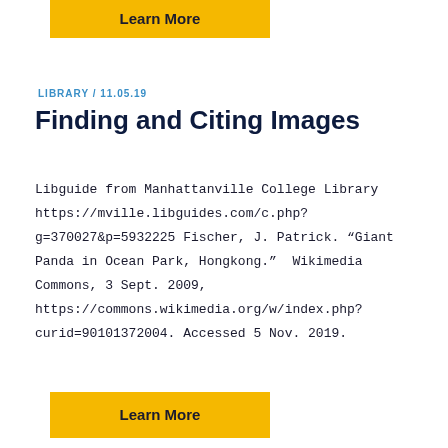[Figure (other): Yellow 'Learn More' button at top of page]
LIBRARY / 11.05.19
Finding and Citing Images
Libguide from Manhattanville College Library https://mville.libguides.com/c.php?g=370027&p=5932225 Fischer, J. Patrick. “Giant Panda in Ocean Park, Hongkong.”  Wikimedia Commons, 3 Sept. 2009, https://commons.wikimedia.org/w/index.php?curid=90101372004. Accessed 5 Nov. 2019.
[Figure (other): Yellow 'Learn More' button at bottom of page]